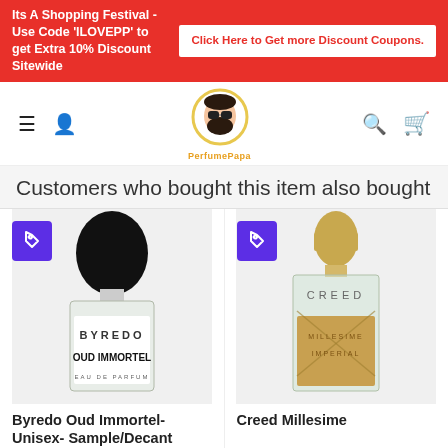Its A Shopping Festival - Use Code 'ILOVEPP' to get Extra 10% Discount Sitewide | Click Here to Get more Discount Coupons.
[Figure (logo): PerfumePapa website logo with bearded man face icon and brand name]
Customers who bought this item also bought
[Figure (photo): Byredo Oud Immortel Eau de Parfum bottle with black dome cap]
Byredo Oud Immortel- Unisex- Sample/Decant
Rs. 850 Rs. 799+
[Figure (photo): Creed Millesime perfume bottle with gold cap]
Creed Millesime